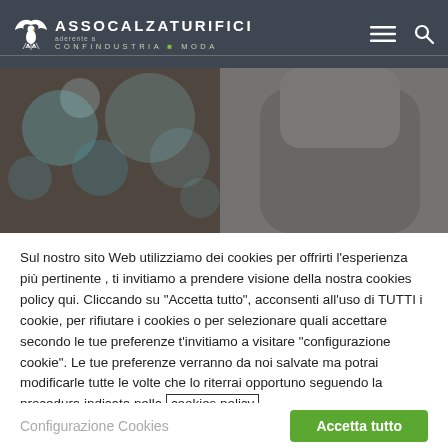ASSOCALZATURIFICI — aderente a CONFINDUSTRIA MODA
[Figure (screenshot): Hero image: blurred bokeh lights (teal/blue) on the left, a person wearing a grey jacket on the right, dark semi-transparent overlay]
Sul nostro sito Web utilizziamo dei cookies per offrirti l'esperienza più pertinente , ti invitiamo a prendere visione della nostra cookies policy qui. Cliccando su "Accetta tutto", acconsenti all'uso di TUTTI i cookie, per rifiutare i cookies o per selezionare quali accettare secondo le tue preferenze t'invitiamo a visitare "configurazione cookie". Le tue preferenze verranno da noi salvate ma potrai modificarle tutte le volte che lo riterrai opportuno seguendo la procedura indicata nella cookies policy
Configurazione Cookies
Accetta tutto